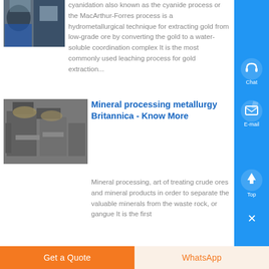[Figure (photo): Partial view of industrial machinery or equipment, cut off at top]
cyanidation also known as the cyanide process or the MacArthur-Forres process is a hydrometallurgical technique for extracting gold from low-grade ore by converting the gold to a water-soluble coordination complex It is the most commonly used leaching process for gold extraction...
[Figure (photo): Industrial mineral processing equipment, metal hoppers and machinery]
Mineral processing metallurgy Britannica - Know More
Mineral processing, art of treating crude ores and mineral products in order to separate the valuable minerals from the waste rock, or gangue It is the first...